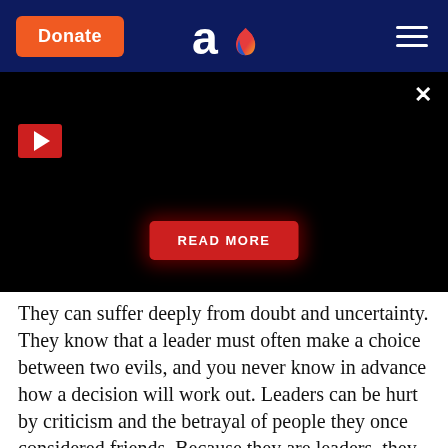[Figure (screenshot): Website header with dark navy background showing an orange Donate button on the left, an 'ao' logo with flame in the center, and a hamburger menu on the right]
[Figure (screenshot): Black video player area with a red play button in the top left, an X close button in the top right, and a red READ MORE button in the center bottom]
They can suffer deeply from doubt and uncertainty. They know that a leader must often make a choice between two evils, and you never know in advance how a decision will work out. Leaders can be hurt by criticism and the betrayal of people they once considered friends. Because they are leaders, they rarely show any signs of vulnerability in public. They have to project a certainty and confidence they do not feel. But Ronald Heifetz and Marty Linsky, the Harvard leadership experts, are right to say, "The hard truth is